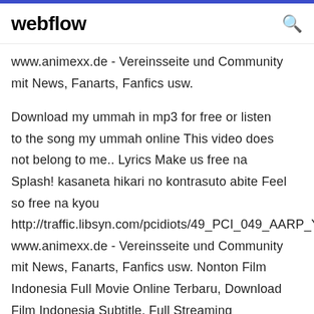webflow
www.animexx.de - Vereinsseite und Community mit News, Fanarts, Fanfics usw.
Download my ummah in mp3 for free or listen to the song my ummah online This video does not belong to me.. Lyrics Make us free na Splash! kasaneta hikari no kontrasuto abite Feel so free na kyou http://traffic.libsyn.com/pcidiots/49_PCI_049_AARP_Yo www.animexx.de - Vereinsseite und Community mit News, Fanarts, Fanfics usw. Nonton Film Indonesia Full Movie Online Terbaru, Download Film Indonesia Subtitle, Full Streaming Indonesian Movie, Unduh Film Indonesia, Full Movie Indonesia Lengkap HD Bluray Gratis Mp4.